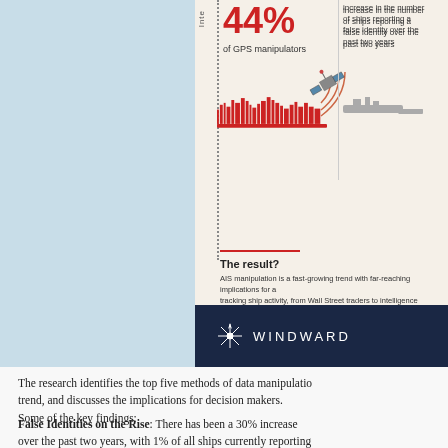[Figure (infographic): Infographic panel showing AIS manipulation statistics: 44% of GPS manipulators, increase in ships reporting false identity over past two years, largest concentration off Africa showing 24x longer. Includes satellite and ship silhouette illustrations. The result section explains AIS manipulation as a fast-growing trend.]
The result? AIS manipulation is a fast-growing trend with far-reaching implications for anyone tracking ship activity, from Wall Street traders to intelligence agencies. Once the data is compromised, none of it can be trusted at face value. AIS data: from Game Changer to Game of Chance.
WINDWARD
The research identifies the top five methods of data manipulation, analyzes the trend, and discusses the implications for decision makers. Some of the key findings:
False Identities on the Rise: There has been a 30% increase over the past two years, with 1% of all ships currently reporting
Obscuring Destinations: Ships report their final port of call during undermining commodity traders and others tracking global com